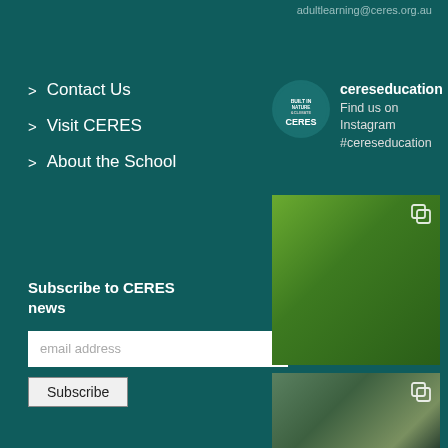adultlearning@ceres.org.au
> Contact Us
> Visit CERES
> About the School
Subscribe to CERES news
email address
Subscribe
[Figure (logo): CERES Education logo - circular badge with nature/climate text and CERES letters]
cereseducation
Find us on Instagram
#cereseducation
[Figure (photo): Close-up photo of green seedling plants with large leaves, possibly spinach or similar leafy vegetable seedlings growing in soil]
[Figure (photo): Photo of people working near water, appears to show children or students doing outdoor/environmental activity near a stream or river]